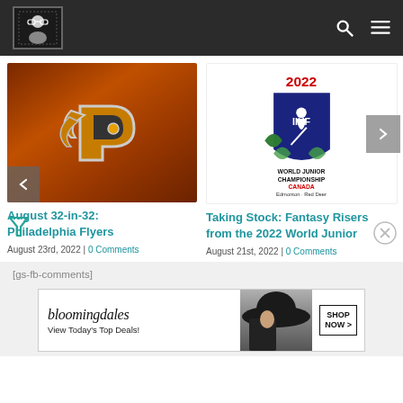Site header with logo, search and menu icons
[Figure (photo): Philadelphia Flyers logo on orange wood background]
[Figure (logo): 2022 IIHF World Junior Championship Canada - Edmonton Red Deer logo]
August 32-in-32: Philadelphia Flyers
August 23rd, 2022 | 0 Comments
Taking Stock: Fantasy Risers from the 2022 World Junior
August 21st, 2022 | 0 Comments
[gs-fb-comments]
[Figure (other): Bloomingdale's advertisement - View Today's Top Deals! SHOP NOW >]